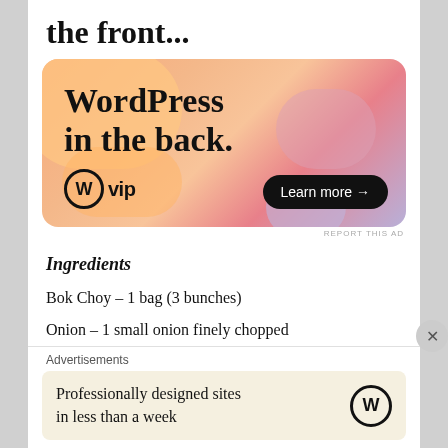the front...
[Figure (illustration): WordPress VIP advertisement banner with colorful gradient blobs background. Text reads 'WordPress in the back.' with WordPress VIP logo and 'Learn more →' button.]
REPORT THIS AD
Ingredients
Bok Choy – 1 bag (3 bunches)
Onion – 1 small onion finely chopped
Advertisements
Professionally designed sites in less than a week